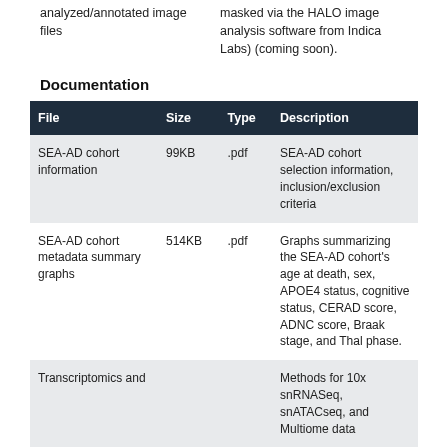analyzed/annotated image files
masked via the HALO image analysis software from Indica Labs) (coming soon).
Documentation
| File | Size | Type | Description |
| --- | --- | --- | --- |
| SEA-AD cohort information | 99KB | .pdf | SEA-AD cohort selection information, inclusion/exclusion criteria |
| SEA-AD cohort metadata summary graphs | 514KB | .pdf | Graphs summarizing the SEA-AD cohort's age at death, sex, APOE4 status, cognitive status, CERAD score, ADNC score, Braak stage, and Thal phase. |
| Transcriptomics and |  |  | Methods for 10x snRNASeq, snATACseq, and Multiome data |